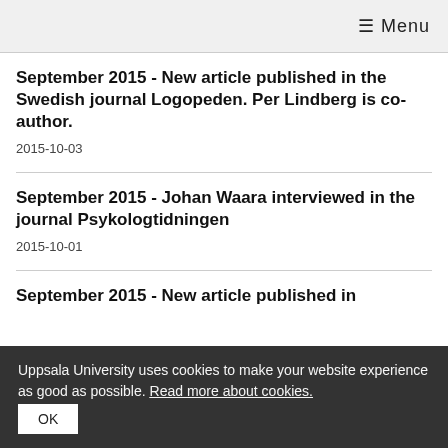≡ Menu
September 2015 - New article published in the Swedish journal Logopeden. Per Lindberg is co-author.
2015-10-03
September 2015 - Johan Waara interviewed in the journal Psykologtidningen
2015-10-01
September 2015 - New article published in
Uppsala University uses cookies to make your website experience as good as possible. Read more about cookies.